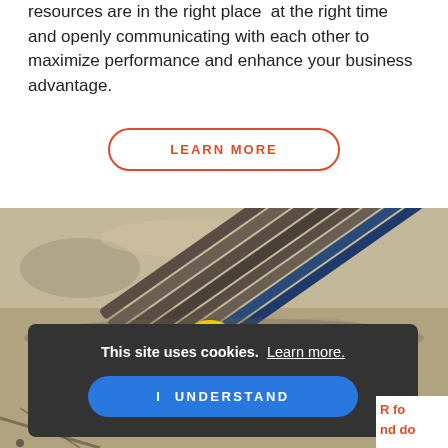resources are in the right place — at the right time and openly communicating with each other to maximize performance and enhance your business advantage.
LEARN MORE
[Figure (photo): Aerial view of construction workers in high-visibility vests and hard hats handling steel pipe bundles on a sandy/concrete surface.]
This site uses cookies. Learn more.
I UNDERSTAND
R fo
nd do